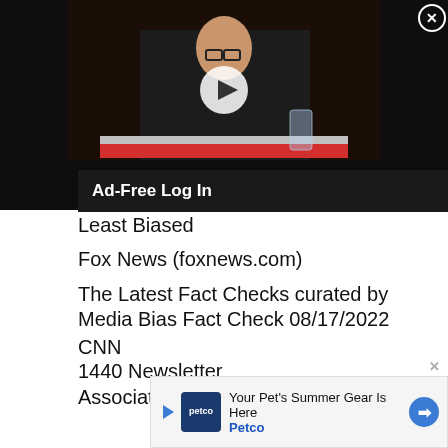[Figure (screenshot): Video thumbnail of a man in glasses at what appears to be a congressional hearing, with a play button overlay and a close (X) button in the top right corner]
Ad-Free Log In
Least Biased
Fox News (foxnews.com)
The Latest Fact Checks curated by Media Bias Fact Check 08/17/2022
CNN
1440 Newsletter
Associated Press
New York Times
The Epoch Times
[Figure (screenshot): Petco advertisement banner: 'Your Pet's Summer Gear Is Here' with Petco logo and blue arrow icon]